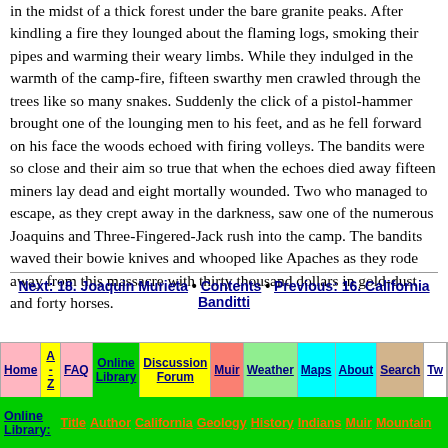in the midst of a thick forest under the bare granite peaks. After kindling a fire they lounged about the flaming logs, smoking their pipes and warming their weary limbs. While they indulged in the warmth of the camp-fire, fifteen swarthy men crawled through the trees like so many snakes. Suddenly the click of a pistol-hammer brought one of the lounging men to his feet, and as he fell forward on his face the woods echoed with firing volleys. The bandits were so close and their aim so true that when the echoes died away fifteen miners lay dead and eight mortally wounded. Two who managed to escape, as they crept away in the darkness, saw one of the numerous Joaquins and Three-Fingered-Jack rush into the camp. The bandits waved their bowie knives and whooped like Apaches as they rode away from this massacre with thirty thousand dollars in gold-dust and forty horses.
Next: 18. Joaquin Murieta • Contents • Previous: 16. California Banditti
Home A-Z FAQ Online Library Discussion Forum Muir Weather Maps About Search Tw...
Online Library: Title Author California Geology History Indians Muir Mountain...